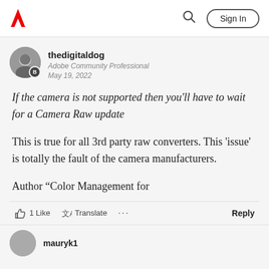Adobe Community — Sign In
thedigitaldog
Adobe Community Professional
May 19, 2022
If the camera is not supported then you'll have to wait for a Camera Raw update
This is true for all 3rd party raw converters. This 'issue' is totally the fault of the camera manufacturers.
Author “Color Management for
1 Like   Translate   ...   Reply
mauryk1